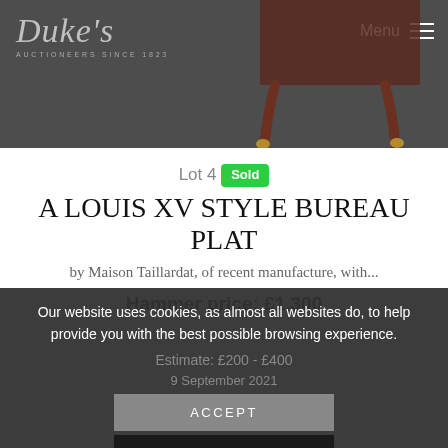Duke's Auctioneers Since 1823
[Figure (photo): Partial view of a Louis XV style bureau plat furniture piece showing decorative legs against a grey background]
Lot 4 Sold
A LOUIS XV STYLE BUREAU PLAT
by Maison Taillardat, of recent manufacture, with...
Hammer price: £1,300
Estimate: £200 - £400
9 September 2021
Our website uses cookies, as almost all websites do, to help provide you with the best possible browsing experience.
ACCEPT
READ MORE